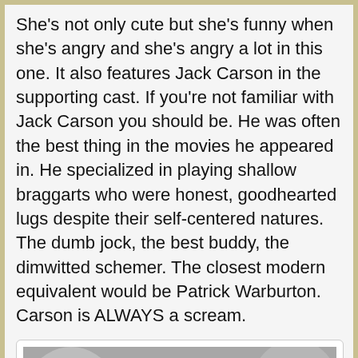She's not only cute but she's funny when she's angry and she's angry a lot in this one. It also features Jack Carson in the supporting cast. If you're not familiar with Jack Carson you should be. He was often the best thing in the movies he appeared in. He specialized in playing shallow braggarts who were honest, goodhearted lugs despite their self-centered natures. The dumb jock, the best buddy, the dimwitted schemer. The closest modern equivalent would be Patrick Warburton. Carson is ALWAYS a scream.
[Figure (photo): Black and white photo of a man and a woman posing close together, classic Hollywood style portrait.]